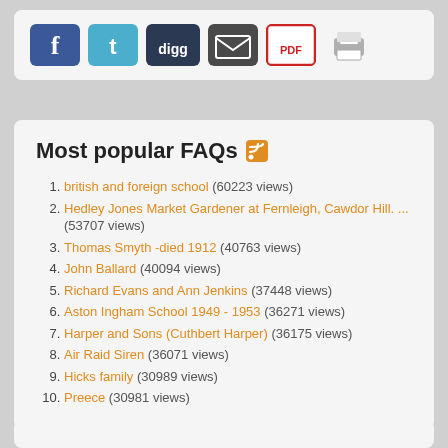[Figure (infographic): Social sharing icons: Facebook (blue), Twitter (teal), Digg (dark blue), Email (dark), PDF/Acrobat (red), Print (gray)]
Most popular FAQs
british and foreign school (60223 views)
Hedley Jones Market Gardener at Fernleigh, Cawdor Hill. ... (53707 views)
Thomas Smyth -died 1912 (40763 views)
John Ballard (40094 views)
Richard Evans and Ann Jenkins (37448 views)
Aston Ingham School 1949 - 1953 (36271 views)
Harper and Sons (Cuthbert Harper) (36175 views)
Air Raid Siren (36071 views)
Hicks family (30989 views)
Preece (30981 views)